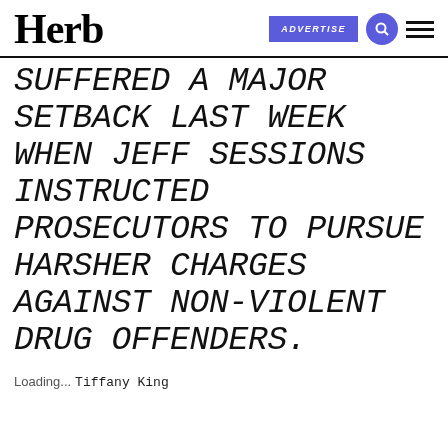Herb | ADVERTISE
SUFFERED A MAJOR SETBACK LAST WEEK WHEN JEFF SESSIONS INSTRUCTED PROSECUTORS TO PURSUE HARSHER CHARGES AGAINST NON-VIOLENT DRUG OFFENDERS.
Loading... Tiffany King